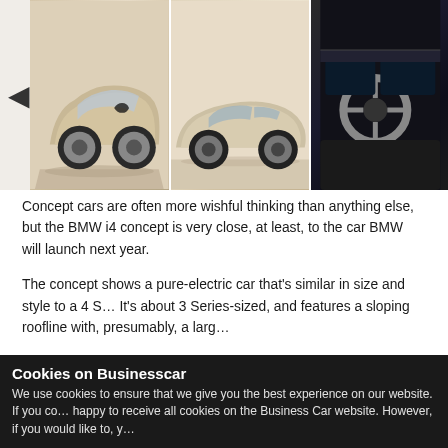[Figure (photo): A slideshow of BMW i4 concept car photos: front-three-quarter view, side profile view, and interior dashboard view. Left arrow navigation button visible. Car has a bronze/champagne metallic finish.]
Concept cars are often more wishful thinking than anything else, but the BMW i4 concept is very close, at least, to the car BMW will launch next year.
The concept shows a pure-electric car that's similar in size and style to a 4 Series Gran Coupe. It's about 3 Series-sized, and features a sloping roofline with, presumably, a large battery underneath.
To take the fight to the Tesla Model 3, it boasts an 80kWh battery and 530hp of power, offering 373 miles - about 20 more than a Tesla Model 3 Long Range.
While the BMW i3 was very innovative when it was launched, its limited range always held it back. BMW looks set to change that with the i4.
Another downside of the i3 was its unique carbon fibre construction, which meant it couldn't share the same production lines as BMW's conventional cars. The i4, on the other hand, will be built alongside the regular 3 and 4 Series in Munich. This will make the car cheaper and it should also make it easier for the manufacturer to scale-up production.
Cookies on Businesscar
We use cookies to ensure that we give you the best experience on our website. If you continue, we're happy to receive all cookies on the Business Car website. However, if you would like to, y